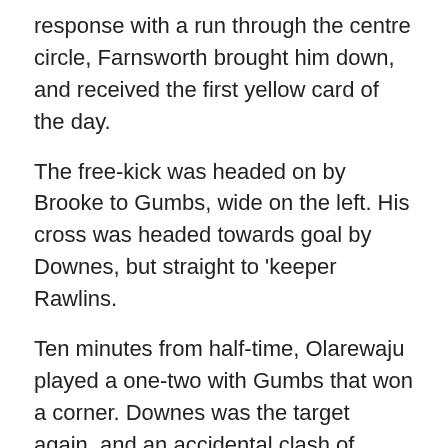response with a run through the centre circle, Farnsworth brought him down, and received the first yellow card of the day.
The free-kick was headed on by Brooke to Gumbs, wide on the left. His cross was headed towards goal by Downes, but straight to 'keeper Rawlins.
Ten minutes from half-time, Olarewaju played a one-two with Gumbs that won a corner. Downes was the target again, and an accidental clash of heads left Alex with a cut that required a bandage and a change into a numberless 'blood shirt'.
Attacking persistence from the home side still failed to produce scoring chances, and a Drayton break won a corner off Brown's block, Mooney punching clear and then dropping on a low follow-up shot from distance.
Welsh set up Brooke for a mazy run on goal past three opponents, but his shot from 20 yards out was blocked by